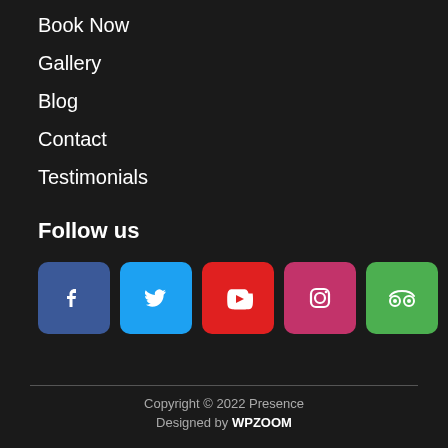Book Now
Gallery
Blog
Contact
Testimonials
Follow us
[Figure (infographic): Six social media icon buttons: Facebook (blue), Twitter (light blue), YouTube (red), Instagram (pink/red), TripAdvisor (green), Airbnb (pink/coral)]
Copyright © 2022 Presence
Designed by WPZOOM